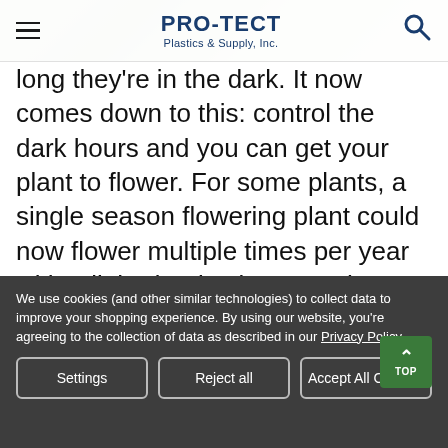PRO-TECT Plastics & Supply, Inc.
long they're in the dark. It now comes down to this: control the dark hours and you can get your plant to flower. For some plants, a single season flowering plant could now flower multiple times per year with a light deprivation greenhouse! Pro-Tect has 9 and 12 mil reinforced blackout film for sale.
We use cookies (and other similar technologies) to collect data to improve your shopping experience. By using our website, you're agreeing to the collection of data as described in our Privacy Policy.